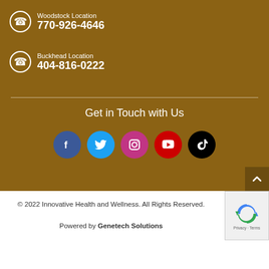Woodstock Location
770-926-4646
Buckhead Location
404-816-0222
Get in Touch with Us
[Figure (infographic): Row of 5 social media icon circles: Facebook (blue), Twitter (cyan), Instagram (pink), YouTube (red), TikTok (black)]
© 2022 Innovative Health and Wellness. All Rights Reserved.
Powered by Genetech Solutions